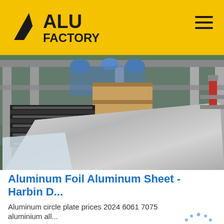ALU FACTORY
[Figure (photo): Interior of an aluminum factory showing aluminum sheets/foil on a conveyor or work table, with industrial machinery, metal frames, blue pipes, and green floor visible in the background.]
Aluminum Foil Aluminum Sheet - Harbin D...
Aluminum circle plate prices 2024 6061 7075 aluminium all...
[Figure (logo): TOP badge logo with circular dots pattern and the word TOP in blue letters]
Get Price